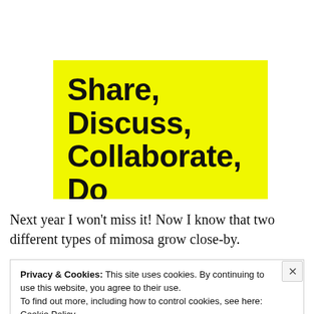Advertisements
[Figure (other): Yellow advertisement banner with bold black text reading 'Share, Discuss, Collaborate, Do' (bottom cut off)]
Next year I won't miss it! Now I know that two different types of mimosa grow close-by.
Privacy & Cookies: This site uses cookies. By continuing to use this website, you agree to their use.
To find out more, including how to control cookies, see here: Cookie Policy
Close and accept